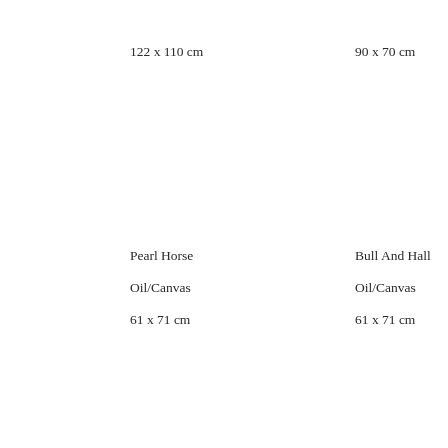122 x 110 cm
90 x 70 cm
Pearl Horse
Bull And Hall
Oil/Canvas
Oil/Canvas
61 x 71 cm
61 x 71 cm